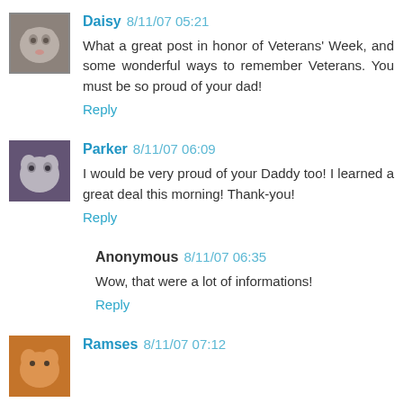[Figure (photo): Avatar image of a cat named Daisy]
Daisy 8/11/07 05:21
What a great post in honor of Veterans' Week, and some wonderful ways to remember Veterans. You must be so proud of your dad!
Reply
[Figure (photo): Avatar image of a cat named Parker]
Parker 8/11/07 06:09
I would be very proud of your Daddy too! I learned a great deal this morning! Thank-you!
Reply
Anonymous 8/11/07 06:35
Wow, that were a lot of informations!
Reply
[Figure (photo): Avatar image of a cat named Ramses]
Ramses 8/11/07 07:12